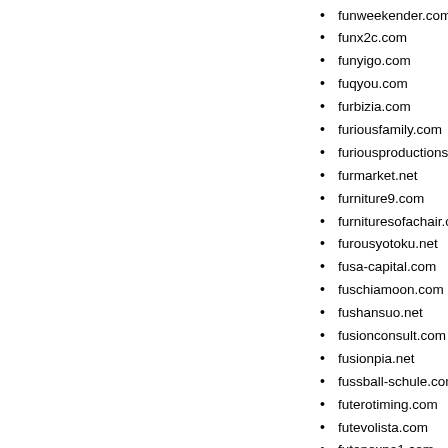funweekender.com
funx2c.com
funyigo.com
fuqyou.com
furbizia.com
furiousfamily.com
furiousproductionsdesigns.c…
furmarket.net
furniture9.com
furnituresofachair.com
furousyotoku.net
fusa-capital.com
fuschiamoon.com
fushansuo.net
fusionconsult.com
fusionpia.net
fussball-schule.com
futerotiming.com
futevolista.com
futonexpo1.com
futterfarm.com
future-print.net
future-uae.com
futureaudiobooks.com
futuremodelers.com
futuremullet.com
futurepluslanka.com
futurismtechnologiesconsult…